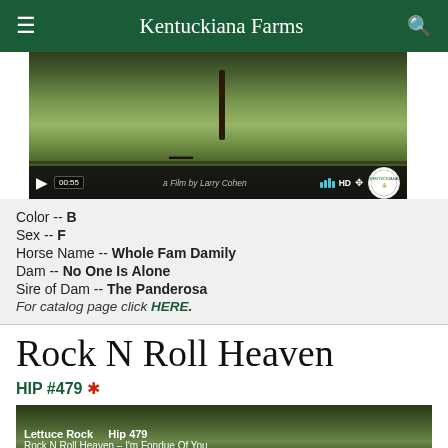Kentuckiana Farms
[Figure (screenshot): Video thumbnail showing horses in a green pasture with trees; video controls bar at bottom showing 00:55 timestamp, 'a Film by Larry Cohen' credit, progress bars, HD badge, and Kentuckiana Farms logo]
Color -- B
Sex -- F
Horse Name -- Whole Fam Damily
Dam -- No One Is Alone
Sire of Dam -- The Panderosa
For catalog page click HERE.
Rock N Roll Heaven
HIP #479 *
[Figure (screenshot): Bottom video thumbnail showing 'Lettuce Rock Hip 479 / Rock N Roll Heaven - I'm Fondue Of You' text overlay on a green outdoor scene]